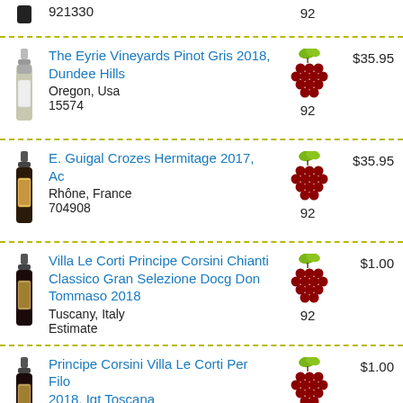921330 | 92
The Eyrie Vineyards Pinot Gris 2018, Dundee Hills | Oregon, Usa | 15574 | 92 | $35.95
E. Guigal Crozes Hermitage 2017, Ac | Rhône, France | 704908 | 92 | $35.95
Villa Le Corti Principe Corsini Chianti Classico Gran Selezione Docg Don Tommaso 2018 | Tuscany, Italy | Estimate | 92 | $1.00
Principe Corsini Villa Le Corti Per Filo 2018, Igt Toscana | Tuscany, Italy | Estimate | 92 | $1.00